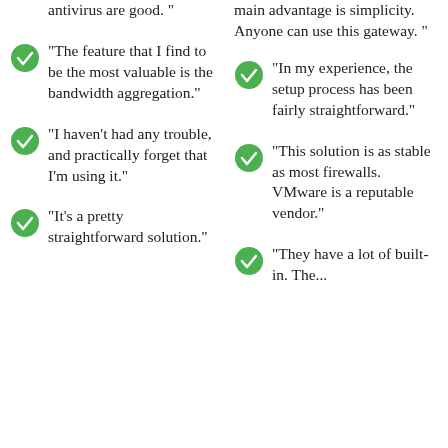antivirus are good."
"The feature that I find to be the most valuable is the bandwidth aggregation."
"I haven't had any trouble, and practically forget that I'm using it."
"It's a pretty straightforward solution."
main advantage is simplicity. Anyone can use this gateway."
"In my experience, the setup process has been fairly straightforward."
"This solution is as stable as most firewalls. VMware is a reputable vendor."
"They have a lot of built-in. The...